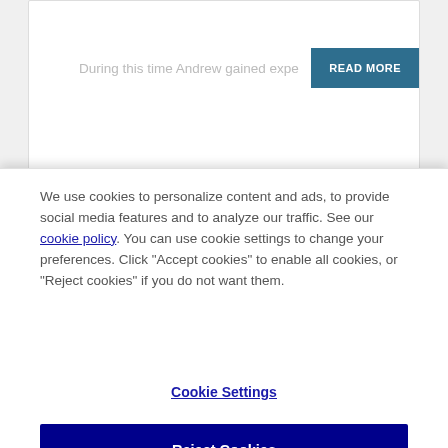During this time Andrew gained expe
READ MORE
[Figure (photo): Partial photo of a person's head visible behind cookie consent overlay]
We use cookies to personalize content and ads, to provide social media features and to analyze our traffic. See our cookie policy. You can use cookie settings to change your preferences. Click "Accept cookies" to enable all cookies, or "Reject cookies" if you do not want them.
Cookie Settings
Reject Cookies
Accept Cookies